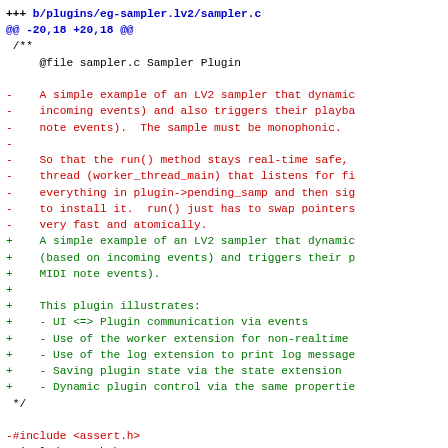+++ b/plugins/eg-sampler.lv2/sampler.c
@@ -20,18 +20,18 @@
 /**
     @file sampler.c Sampler Plugin

 -    A simple example of an LV2 sampler that dynamic
 -    incoming events) and also triggers their playba
 -    note events).  The sample must be monophonic.
 -
 -    So that the run() method stays real-time safe,
 -    thread (worker_thread_main) that listens for fi
 -    everything in plugin->pending_samp and then sig
 -    to install it.  run() just has to swap pointers
 -    very fast and atomically.
 +    A simple example of an LV2 sampler that dynamic
 +    (based on incoming events) and triggers their p
 +    MIDI note events).
 +
 +    This plugin illustrates:
 +    - UI <=> Plugin communication via events
 +    - Use of the worker extension for non-realtime
 +    - Use of the log extension to print log message
 +    - Saving plugin state via the state extension
 +    - Dynamic plugin control via the same propertie
  */

 -#include <assert.h>
  #include <math.h>
  #include <stdbool.h>
  #include <stdlib.h>